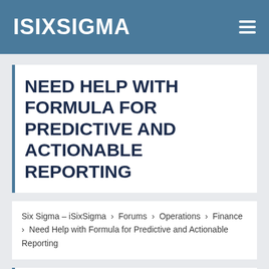ISIXSIGMA
NEED HELP WITH FORMULA FOR PREDICTIVE AND ACTIONABLE REPORTING
Six Sigma – iSixSigma › Forums › Operations › Finance › Need Help with Formula for Predictive and Actionable Reporting
This topic has 1 reply, 2 voices, and was last updated 1 year, 11 months ago by Michael Parent.